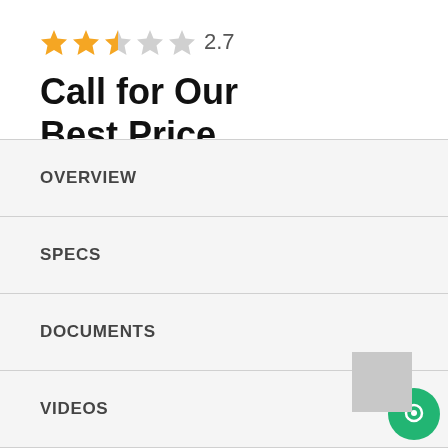[Figure (other): Star rating showing 2.7 out of 5 stars — two full gold stars, one half gold/grey star, two grey stars, followed by the number 2.7]
Call for Our Best Price
See Details
OVERVIEW
SPECS
DOCUMENTS
VIDEOS